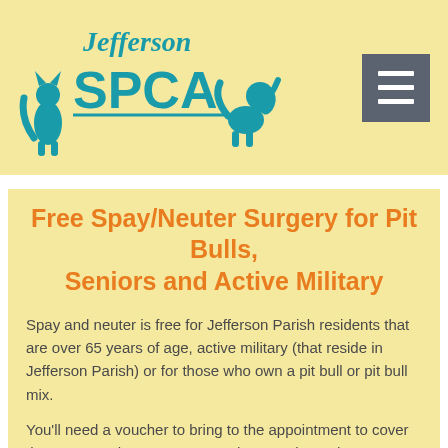[Figure (logo): Jefferson SPCA logo with teal silhouettes of a cat, dog, and other animals and the text 'Jefferson SPCA' in teal]
Free Spay/Neuter Surgery for Pit Bulls, Seniors and Active Military
Spay and neuter is free for Jefferson Parish residents that are over 65 years of age, active military (that reside in Jefferson Parish) or for those who own a pit bull or pit bull mix.
You'll need a voucher to bring to the appointment to cover the co-pay or have one sent to the vet prior to the surgery date